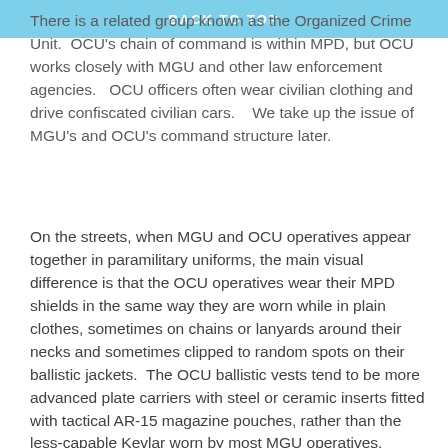BACK TO TOP
There is a related group known as the Organized Crime Unit.  OCU's chain of command is within MPD, but OCU works closely with MGU and other law enforcement agencies.   OCU officers often wear civilian clothing and drive confiscated civilian cars.    We take up the issue of MGU's and OCU's command structure later.
On the streets, when MGU and OCU operatives appear together in paramilitary uniforms, the main visual difference is that the OCU operatives wear their MPD shields in the same way they are worn while in plain clothes, sometimes on chains or lanyards around their necks and sometimes clipped to random spots on their ballistic jackets.  The OCU ballistic vests tend to be more advanced plate carriers with steel or ceramic inserts fitted with tactical AR-15 magazine pouches, rather than the less-capable Kevlar worn by most MGU operatives.   MGU operatives usually have their shields on MPD-issued uniform clips and in the same location on the front of the vest.